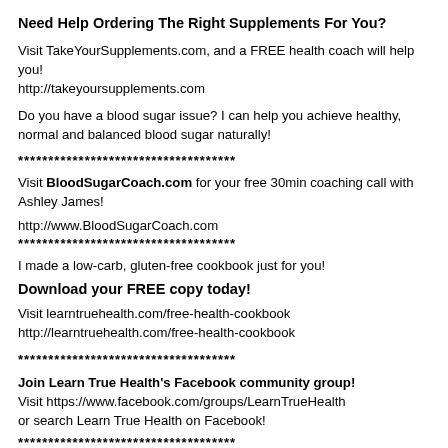Need Help Ordering The Right Supplements For You?
Visit TakeYourSupplements.com, and a FREE health coach will help you!
http://takeyoursupplements.com
Do you have a blood sugar issue? I can help you achieve healthy, normal and balanced blood sugar naturally!
************************************
Visit BloodSugarCoach.com for your free 30min coaching call with Ashley James!
http://www.BloodSugarCoach.com
************************************
I made a low-carb, gluten-free cookbook just for you!
Download your FREE copy today!
Visit learntruehealth.com/free-health-cookbook
http://learntruehealth.com/free-health-cookbook
************************************
Join Learn True Health's Facebook community group!
Visit https://www.facebook.com/groups/LearnTrueHealth
or search Learn True Health on Facebook!
************************************